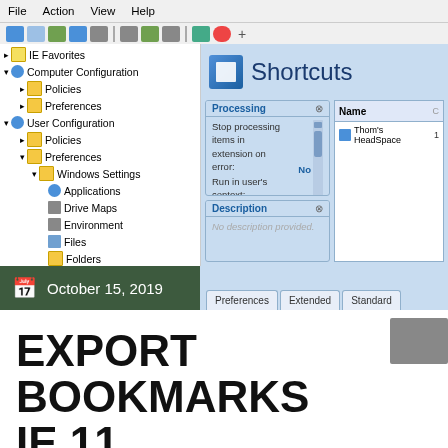[Figure (screenshot): Windows Group Policy Management Editor screenshot showing a tree view on the left with IE Favorites, Computer Configuration (Policies, Preferences), User Configuration (Policies, Preferences > Windows Settings > Applications, Drive Maps, Environment, Files, Folders, Ini Files, Registry, Shortcuts selected, Control Panel Settings), and on the right a Shortcuts panel with Processing section showing Stop processing items in extension on error: No, Run in user's context: Yes, Remove if not: No, and Description section with 'No description provided.' A Name column shows Thom's HeadSpace entry. Tabs at bottom show Preferences, Extended, Standard.]
October 15, 2019
EXPORT BOOKMARKS IE 11